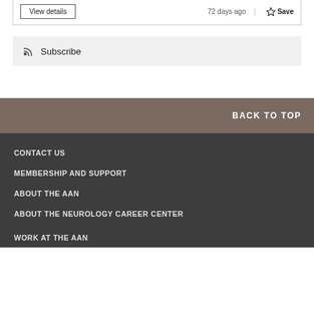View details
72 days ago | Save
Subscribe
BACK TO TOP
CONTACT US
MEMBERSHIP AND SUPPORT
ABOUT THE AAN
ABOUT THE NEUROLOGY CAREER CENTER
WORK AT THE AAN